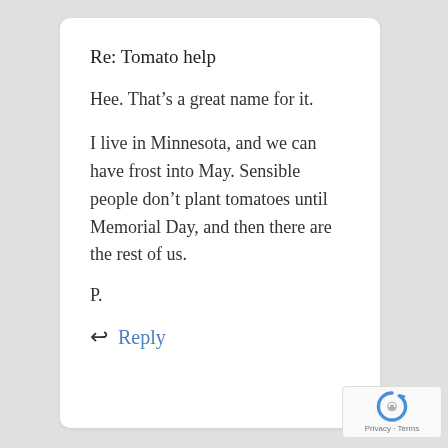Re: Tomato help
Hee. That’s a great name for it.
I live in Minnesota, and we can have frost into May. Sensible people don’t plant tomatoes until Memorial Day, and then there are the rest of us.
P.
Reply